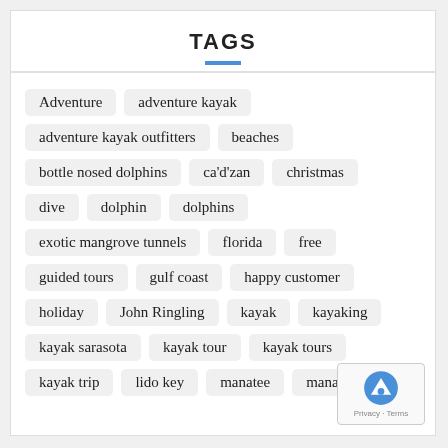TAGS
Adventure
adventure kayak
adventure kayak outfitters
beaches
bottle nosed dolphins
ca'd'zan
christmas
dive
dolphin
dolphins
exotic mangrove tunnels
florida
free
guided tours
gulf coast
happy customer
holiday
John Ringling
kayak
kayaking
kayak sarasota
kayak tour
kayak tours
kayak trip
lido key
manatee
manatee